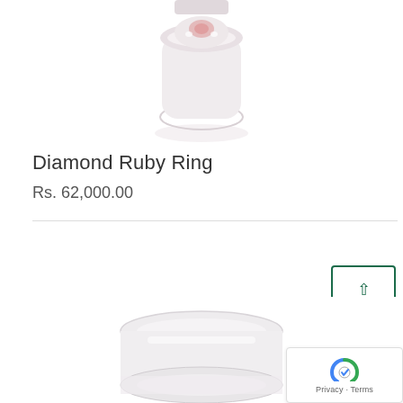[Figure (photo): Top portion of a diamond ruby ring on white background, partially cropped at top]
Diamond Ruby Ring
Rs. 62,000.00
[Figure (photo): Bottom portion of a second ring (platinum/silver band) on white background, partially cropped at bottom]
[Figure (other): Back to top button with upward arrow and TOP text, teal/green border]
[Figure (other): Google reCAPTCHA badge with Privacy and Terms links]